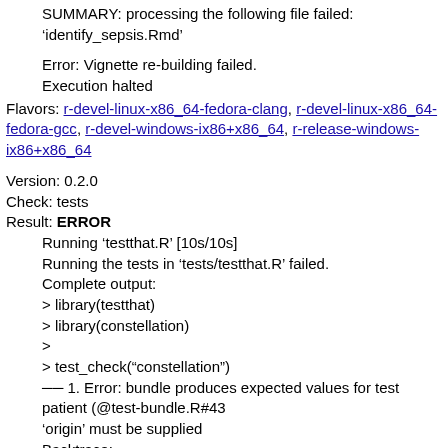SUMMARY: processing the following file failed: 'identify_sepsis.Rmd'
Error: Vignette re-building failed.
Execution halted
Flavors: r-devel-linux-x86_64-fedora-clang, r-devel-linux-x86_64-fedora-gcc, r-devel-windows-ix86+x86_64, r-release-windows-ix86+x86_64
Version: 0.2.0
Check: tests
Result: ERROR
Running 'testthat.R' [10s/10s]
Running the tests in 'tests/testthat.R' failed.
Complete output:
> library(testthat)
> library(constellation)
>
> test_check("constellation")
── 1. Error: bundle produces expected values for test patient (@test-bundle.R#43
'origin' must be supplied
Backtrace:
1. testthat::expect_equal(...)
5. constellation::bundle(...)